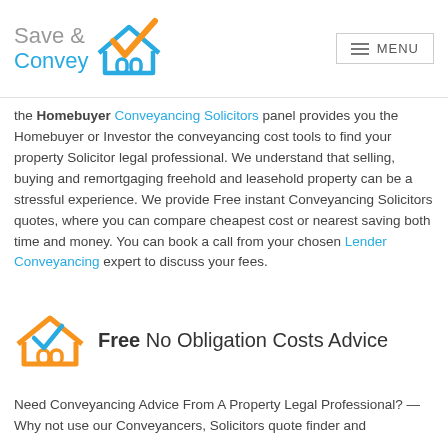Save & Convey — MENU
the Homebuyer Conveyancing Solicitors panel provides you the Homebuyer or Investor the conveyancing cost tools to find your property Solicitor legal professional. We understand that selling, buying and remortgaging freehold and leasehold property can be a stressful experience. We provide Free instant Conveyancing Solicitors quotes, where you can compare cheapest cost or nearest saving both time and money. You can book a call from your chosen Lender Conveyancing expert to discuss your fees.
[Figure (logo): Orange house icon with blue checkmark and house outline]
Free No Obligation Costs Advice
Need Conveyancing Advice From A Property Legal Professional? — Why not use our Conveyancers, Solicitors quote finder and